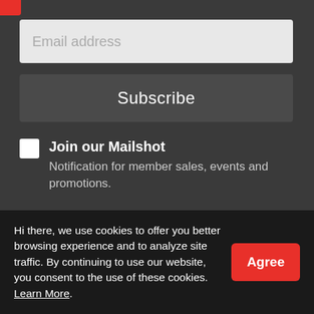[Figure (logo): Red partial logo in top-left corner]
Email address
Subscribe
Join our Mailshot
Notification for member sales, events and promotions.
About PigiaMe
Contact
Sell Online
Deals
Hi there, we use cookies to offer you better browsing experience and to analyze site traffic. By continuing to use our website, you consent to the use of these cookies. Learn More.